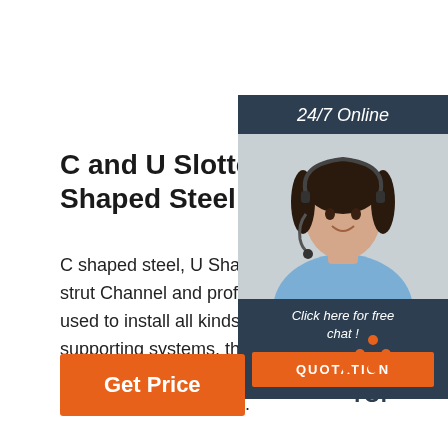C and U Slotted Perforated Galvanized Shaped Steel
C shaped steel, U Shaped steel, also known as strut Channel and profile steel channel, are used to install all kinds of steel structure supporting systems, they are widely used in construction, storage rack, automobile, furniture, crash barrier and so on.
[Figure (photo): Customer service agent with headset, smiling, next to a '24/7 Online' banner and 'Click here for free chat!' with a QUOTATION button]
Get Price
[Figure (other): TOP button with orange dots arranged in a triangle above the word TOP]